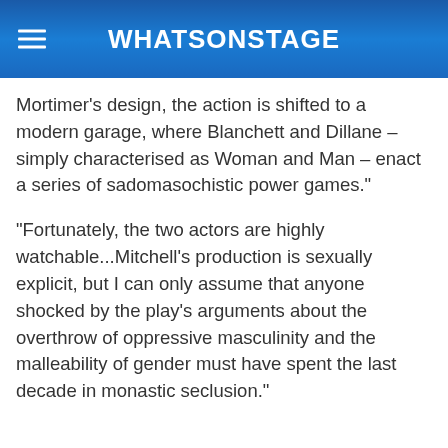WhatsOnStage
Mortimer's design, the action is shifted to a modern garage, where Blanchett and Dillane – simply characterised as Woman and Man – enact a series of sadomasochistic power games."
"Fortunately, the two actors are highly watchable...Mitchell's production is sexually explicit, but I can only assume that anyone shocked by the play's arguments about the overthrow of oppressive masculinity and the malleability of gender must have spent the last decade in monastic seclusion."